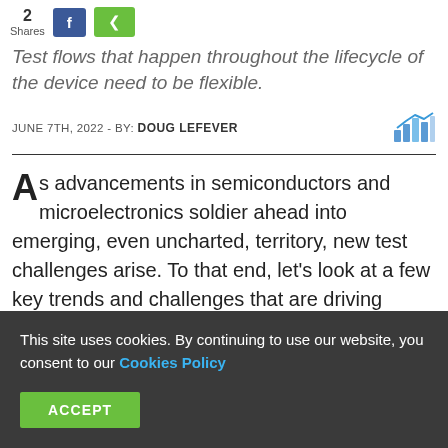2 Shares
Test flows that happen throughout the lifecycle of the device need to be flexible.
JUNE 7TH, 2022 - BY: DOUG LEFEVER
[Figure (infographic): Bar/line chart icon in blue tones]
As advancements in semiconductors and microelectronics soldier ahead into emerging, even uncharted, territory, new test challenges arise. To that end, let's look at a few key trends and challenges that are driving opportunities for innovation in the
This site uses cookies. By continuing to use our website, you consent to our Cookies Policy